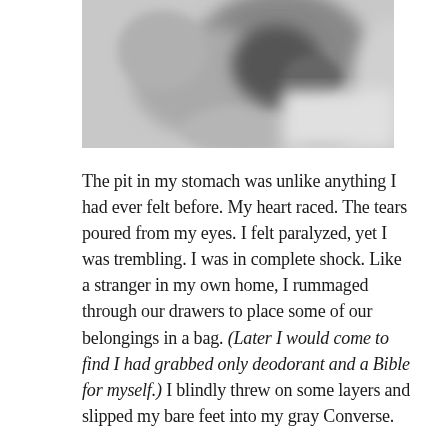[Figure (photo): A blurry black and white photograph showing indistinct objects, possibly household items or a cluttered space.]
The pit in my stomach was unlike anything I had ever felt before. My heart raced. The tears poured from my eyes. I felt paralyzed, yet I was trembling. I was in complete shock. Like a stranger in my own home, I rummaged through our drawers to place some of our belongings in a bag. (Later I would come to find I had grabbed only deodorant and a Bible for myself.) I blindly threw on some layers and slipped my bare feet into my gray Converse.